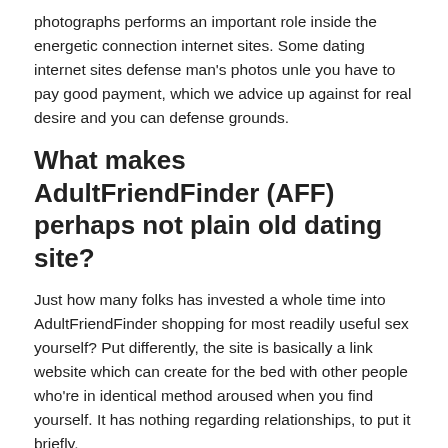photographs performs an important role inside the energetic connection internet sites. Some dating internet sites defense man's photos unle you have to pay good payment, which we advice up against for real desire and you can defense grounds.
What makes AdultFriendFinder (AFF) perhaps not plain old dating site?
Just how many folks has invested a whole time into AdultFriendFinder shopping for most readily useful sex yourself? Put differently, the site is basically a link website which can create for the bed with other people who're in identical method aroused when you find yourself. It has nothing regarding relationships, to put it briefly.